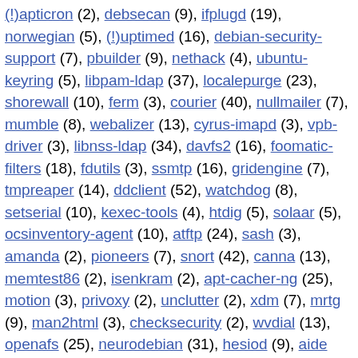(!)​apticron (2), debsecan (9), ifplugd (19), norwegian (5), (!)​uptimed (16), debian-security-support (7), pbuilder (9), nethack (4), ubuntu-keyring (5), libpam-ldap (37), localepurge (23), shorewall (10), ferm (3), courier (40), nullmailer (7), mumble (8), webalizer (13), cyrus-imapd (3), vpb-driver (3), libnss-ldap (34), davfs2 (16), foomatic-filters (18), fdutils (3), ssmtp (16), gridengine (7), tmpreaper (14), ddclient (52), watchdog (8), setserial (10), kexec-tools (4), htdig (5), solaar (5), ocsinventory-agent (10), atftp (24), sash (3), amanda (2), pioneers (7), snort (42), canna (13), memtest86 (2), isenkram (2), apt-cacher-ng (25), motion (3), privoxy (2), unclutter (2), xdm (7), mrtg (9), man2html (3), checksecurity (2), wvdial (13), openafs (25), neurodebian (31), hesiod (9), aide (7), (!)nbd (15), hyperscan (2), (!)iirish (1), mailagent (4), gosa (3), slim (4), macchanger (2), slrn (19), xfonts-wqy (2), hylafax (4), tango (2), nsca (3), netdiag (2), sa-exim (3), gnubg (2), cacti (4), (!)lucene-solr (3), perlindex (2), unixcw (6), tripwire (54), backuppc (7), bastet (3), icecast2 (12),